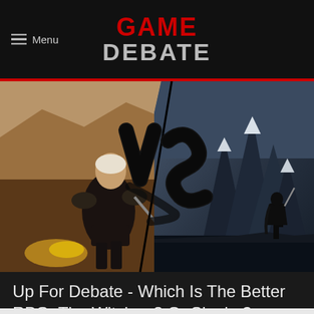GAME DEBATE
[Figure (photo): Two video game screenshots side by side showing a VS battle: left side shows The Witcher 3 character Geralt in combat, right side shows a character standing on a mountain peak in Skyrim. A large stylized 'VS' logo in black is in the center.]
Up For Debate - Which Is The Better RPG, The Witcher 3 Or Skyrim?
Written by Jon Sutton on Sat, Oct 29, 2016 4:00 PM